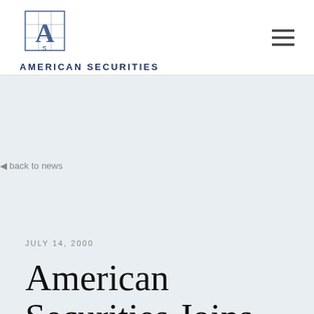[Figure (logo): American Securities logo — stylized letter A with grid pattern inside a square frame]
AMERICAN SECURITIES
◀ back to news
JULY 14, 2000
American Securities Joins Cambridge